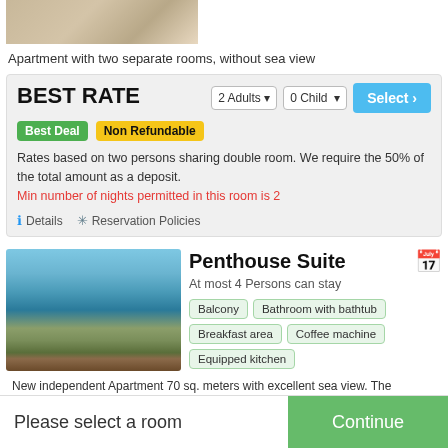[Figure (photo): Hotel room photo showing bed/room interior, partially cropped at top]
Apartment with two separate rooms, without sea view
BEST RATE
Best Deal  Non Refundable
Rates based on two persons sharing double room. We require the 50% of the total amount as a deposit.
Min number of nights permitted in this room is 2
Details  Reservation Policies
[Figure (photo): Penthouse Suite photo showing balcony with sea view, outdoor dining table and chairs]
Penthouse Suite
At most 4 Persons can stay
Balcony
Bathroom with bathtub
Breakfast area
Coffee machine
Equipped kitchen
New independent Apartment 70 sq. meters with excellent sea view. The apartment build in 2011 and is with two bedrooms, one bathroom with bath tub, and fully
Please select a room
Continue